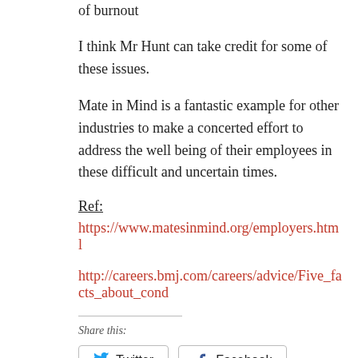of burnout
I think Mr Hunt can take credit for some of these issues.
Mate in Mind is a fantastic example for other industries to make a concerted effort to address the well being of their employees in these difficult and uncertain times.
Ref:
https://www.matesinmind.org/employers.html
http://careers.bmj.com/careers/advice/Five_facts_about_cond
Share this:
Twitter  Facebook